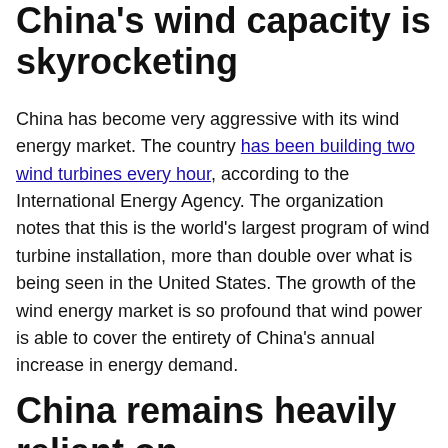China's wind capacity is skyrocketing
China has become very aggressive with its wind energy market. The country has been building two wind turbines every hour, according to the International Energy Agency. The organization notes that this is the world's largest program of wind turbine installation, more than double over what is being seen in the United States. The growth of the wind energy market is so profound that wind power is able to cover the entirety of China's annual increase in energy demand.
China remains heavily reliant on